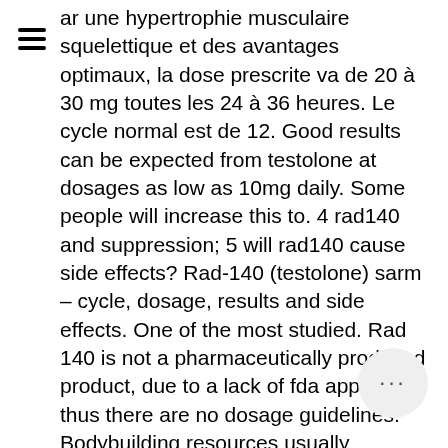ar une hypertrophie musculaire squelettique et des avantages optimaux, la dose prescrite va de 20 à 30 mg toutes les 24 à 36 heures. Le cycle normal est de 12. Good results can be expected from testolone at dosages as low as 10mg daily. Some people will increase this to. 4 rad140 and suppression; 5 will rad140 cause side effects? Rad-140 (testolone) sarm – cycle, dosage, results and side effects. One of the most studied. Rad 140 is not a pharmaceutically produced product, due to a lack of fda approval, thus there are no dosage guidelines. Bodybuilding resources usually recommend a dosage of 10 to 30 mg per day for men and 5 to 10 mg per day for women. Users typically cycle rad140. The weight-based rad-140 doses that the patient took were approximately 0. The half-life is 15 to 20 hours, which means it can be us once a day. Testolone dosage: 1 capsu times a day. Um dos sarms mais recentes é